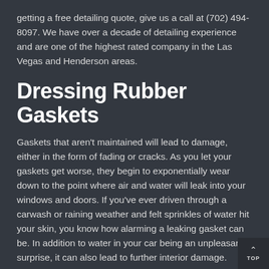getting a free detailing quote, give us a call at (702) 494-8097. We have over a decade of detailing experience and are one of the highest rated company in the Las Vegas and Henderson areas.
Dressing Rubber Gaskets
Gaskets that aren't maintained will lead to damage, either in the form of fading or cracks. As you let your gaskets get worse, they begin to exponentially wear down to the point where air and water will leak into your windows and doors. If you've ever driven through a carwash or raining weather and felt sprinkles of water hit your skin, you know how alarming a leaking gasket can be. In addition to water in your car being an unpleasant surprise, it can also lead to further interior damage.
Here at The Best Detail, we recommend that gaskets are detailed at least once a year. It will keep trim in the best